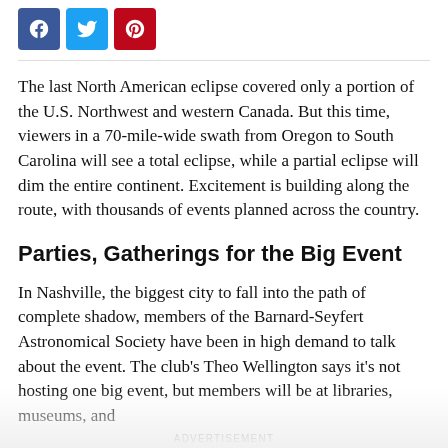[Figure (other): Social media share buttons: Facebook (blue), Twitter (light blue), Pinterest (red)]
The last North American eclipse covered only a portion of the U.S. Northwest and western Canada. But this time, viewers in a 70-mile-wide swath from Oregon to South Carolina will see a total eclipse, while a partial eclipse will dim the entire continent. Excitement is building along the route, with thousands of events planned across the country.
Parties, Gatherings for the Big Event
In Nashville, the biggest city to fall into the path of complete shadow, members of the Barnard-Seyfert Astronomical Society have been in high demand to talk about the event. The club's Theo Wellington says it's not hosting one big event, but members will be at libraries, museums, and
ADVERTISEMENT